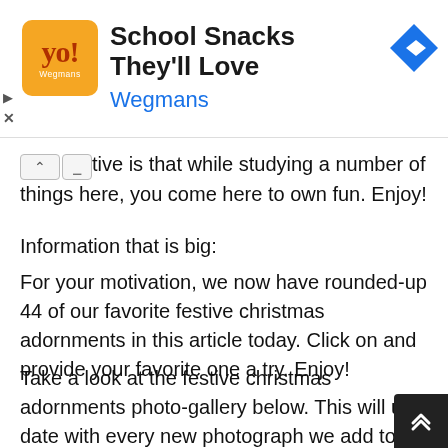[Figure (other): Advertisement banner for Wegmans showing logo, title 'School Snacks They'll Love', brand name 'Wegmans', and a blue navigation arrow diamond icon]
objective is that while studying a number of things here, you come here to own fun. Enjoy!
Information that is big:
For your motivation, we now have rounded-up 44 of our favorite festive christmas adornments in this article today. Click on and provide your favorite one a try. Enjoy!
Take a look at the festive christmas adornments photo-gallery below. This will up date with every new photograph we add to our site-so in case this is liked by you, please save it and visit again.